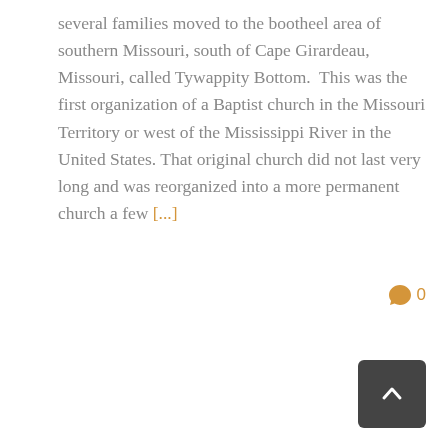several families moved to the bootheel area of southern Missouri, south of Cape Girardeau, Missouri, called Tywappity Bottom.  This was the first organization of a Baptist church in the Missouri Territory or west of the Mississippi River in the United States. That original church did not last very long and was reorganized into a more permanent church a few [...]
[Figure (other): Comment icon (speech bubble) with count '0' in orange color]
[Figure (other): Dark grey scroll-to-top button with upward chevron arrow]